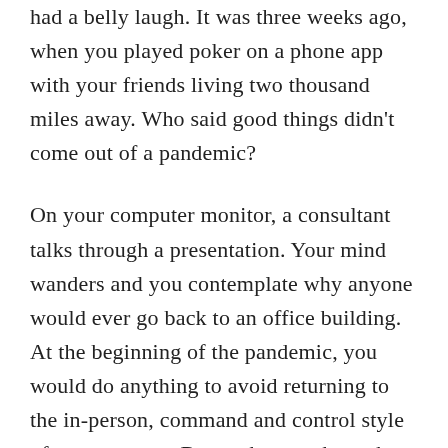had a belly laugh. It was three weeks ago, when you played poker on a phone app with your friends living two thousand miles away. Who said good things didn't come out of a pandemic?
On your computer monitor, a consultant talks through a presentation. Your mind wanders and you contemplate why anyone would ever go back to an office building. At the beginning of the pandemic, you would do anything to avoid returning to the in-person, command and control style of management. But as the months go by, you realize the value of being with your coworkers, the value of the smiles, the frowns, the jovial slap on